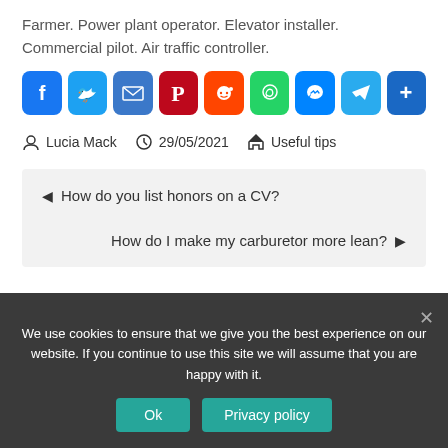Farmer. Power plant operator. Elevator installer. Commercial pilot. Air traffic controller.
[Figure (other): Row of social media sharing icons: Facebook, Twitter, Email, Pinterest, Reddit, WhatsApp, Messenger, Telegram, Share]
Lucia Mack   29/05/2021   Useful tips
◄ How do you list honors on a CV?
How do I make my carburetor more lean? ►
We use cookies to ensure that we give you the best experience on our website. If you continue to use this site we will assume that you are happy with it.